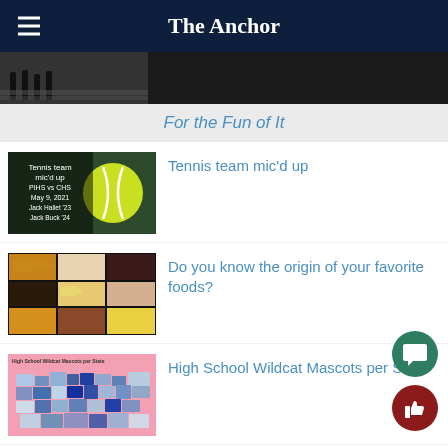The Anchor
[Figure (photo): People crossing Abbey Road style crosswalk, black and white photo strip at top]
For the Fun of It
[Figure (photo): Tennis ball on court with text: Tennis team mic'd up PIHS vs CHS May 9, 2021 Jack Hallet '23 Jack Buck '24]
Tennis team mic'd up
[Figure (photo): Collage of various foods including croissants, pastries, noodles, desserts on black background]
Do you know the origin of your favorite foods?
[Figure (map): Map of USA showing High School Wildcat Mascots per State in shades of blue on pink background]
High School Wildcat Mascots per State